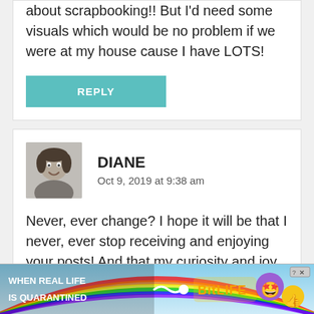about scrapbooking!! But I'd need some visuals which would be no problem if we were at my house cause I have LOTS!
REPLY
DIANE
Oct 9, 2019 at 9:38 am
Never, ever change? I hope it will be that I never, ever stop receiving and enjoying your posts! And that my curiosity and joy in all the little things never dies away. And that I am able to c[partially visible]s on [partially visible]
[Figure (infographic): Advertisement banner: 'WHEN REAL LIFE IS QUARANTINED' with BitLife logo and emoji characters, rainbow background, close button with question mark icon]